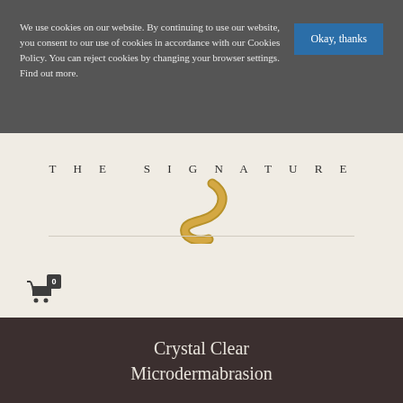We use cookies on our website. By continuing to use our website, you consent to our use of cookies in accordance with our Cookies Policy. You can reject cookies by changing your browser settings. Find out more.
Okay, thanks
[Figure (logo): The Signature logo with stylized S curve in gold/bronze and THE SIGNATURE text in spaced serif capitals]
[Figure (other): Shopping cart icon with badge showing 0]
Crystal Clear Microdermabrasion